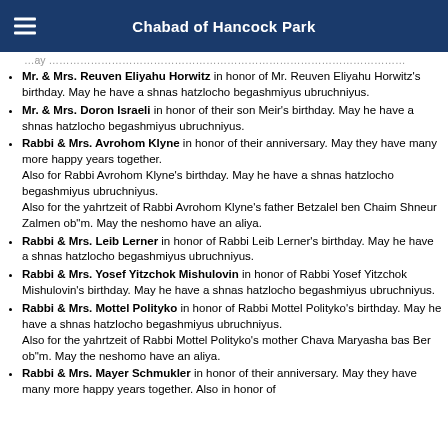Chabad of Hancock Park
Mr. & Mrs. Reuven Eliyahu Horwitz in honor of Mr. Reuven Eliyahu Horwitz's birthday. May he have a shnas hatzlocho begashmiyus ubruchniyus.
Mr. & Mrs. Doron Israeli in honor of their son Meir's birthday. May he have a shnas hatzlocho begashmiyus ubruchniyus.
Rabbi & Mrs. Avrohom Klyne in honor of their anniversary. May they have many more happy years together. Also for Rabbi Avrohom Klyne's birthday. May he have a shnas hatzlocho begashmiyus ubruchniyus. Also for the yahrtzeit of Rabbi Avrohom Klyne's father Betzalel ben Chaim Shneur Zalmen ob"m. May the neshomo have an aliya.
Rabbi & Mrs. Leib Lerner in honor of Rabbi Leib Lerner's birthday. May he have a shnas hatzlocho begashmiyus ubruchniyus.
Rabbi & Mrs. Yosef Yitzchok Mishulovin in honor of Rabbi Yosef Yitzchok Mishulovin's birthday. May he have a shnas hatzlocho begashmiyus ubruchniyus.
Rabbi & Mrs. Mottel Polityko in honor of Rabbi Mottel Polityko's birthday. May he have a shnas hatzlocho begashmiyus ubruchniyus. Also for the yahrtzeit of Rabbi Mottel Polityko's mother Chava Maryasha bas Ber ob"m. May the neshomo have an aliya.
Rabbi & Mrs. Mayer Schmukler in honor of their anniversary. May they have many more happy years together. Also in honor of